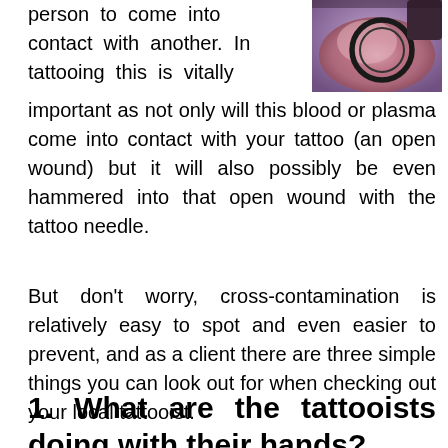person to come into contact with another. In tattooing this is vitally important as not only will this blood or plasma come into contact with your tattoo (an open wound) but it will also possibly be even hammered into that open wound with the tattoo needle.
[Figure (photo): Close-up photo of a tattoo or skin with ink, showing purplish/pink tones with a dark circular outline, likely a tattoo needle or fresh tattoo area.]
But don't worry, cross-contamination is relatively easy to spot and even easier to prevent, and as a client there are three simple things you can look out for when checking out your local tattooist.
1.  What are the tattooists doing with their hands?